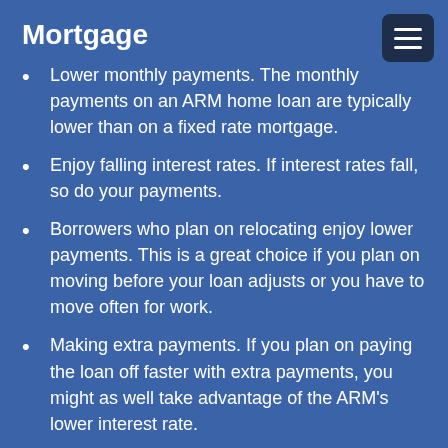Mortgage
Lower monthly payments. The monthly payments on an ARM home loan are typically lower than on a fixed rate mortgage.
Enjoy falling interest rates. If interest rates fall, so do your payments.
Borrowers who plan on relocating enjoy lower payments. This is a great choice if you plan on moving before your loan adjusts or you have to move often for work.
Making extra payments. If you plan on paying the loan off faster with extra payments, you might as well take advantage of the ARM’s lower interest rate.